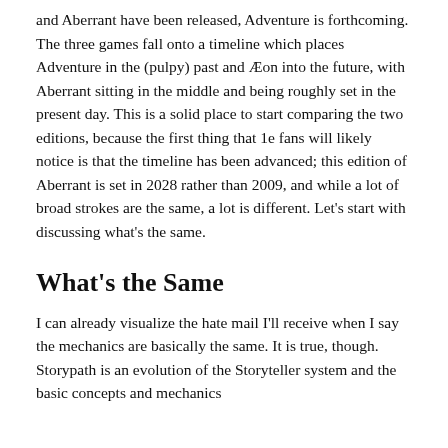and Aberrant have been released, Adventure is forthcoming. The three games fall onto a timeline which places Adventure in the (pulpy) past and Æon into the future, with Aberrant sitting in the middle and being roughly set in the present day. This is a solid place to start comparing the two editions, because the first thing that 1e fans will likely notice is that the timeline has been advanced; this edition of Aberrant is set in 2028 rather than 2009, and while a lot of broad strokes are the same, a lot is different. Let's start with discussing what's the same.
What's the Same
I can already visualize the hate mail I'll receive when I say the mechanics are basically the same. It is true, though. Storypath is an evolution of the Storyteller system and the basic concepts and mechanics